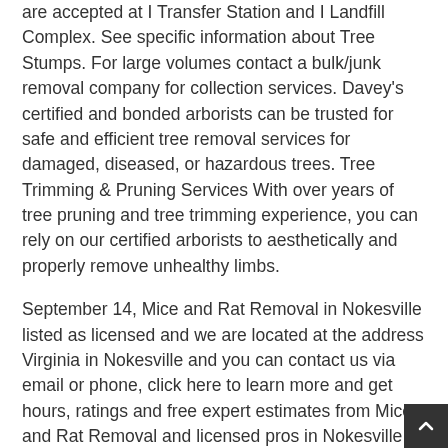are accepted at I Transfer Station and I Landfill Complex. See specific information about Tree Stumps. For large volumes contact a bulk/junk removal company for collection services. Davey's certified and bonded arborists can be trusted for safe and efficient tree removal services for damaged, diseased, or hazardous trees. Tree Trimming & Pruning Services With over years of tree pruning and tree trimming experience, you can rely on our certified arborists to aesthetically and properly remove unhealthy limbs.
September 14, Mice and Rat Removal in Nokesville listed as licensed and we are located at the address Virginia in Nokesville and you can contact us via email or phone, click here to learn more and get hours, ratings and free expert estimates from Mice and Rat Removal and licensed pros in Nokesville and nearby. Tree Trimming (Large)Tree Removal (Small)Tree Removal (Medium)Tree Removl (Large) 2, Stump Grinding:Strub Trimming (one time)Strub Trimming (Quarterly)Shrub Trimming (monthly)Staunton, VA Phone #: 8, Prince William Soil and Water Conservation District Prince William SWCD seeks funding for Soil Tunnel tent to enable students to understand soil horizon